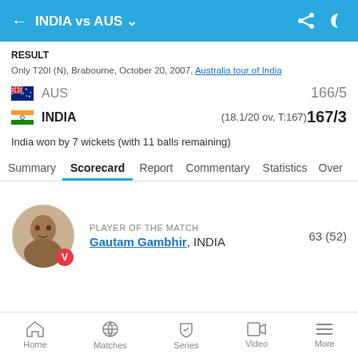INDIA vs AUS
RESULT
Only T20I (N), Brabourne, October 20, 2007, Australia tour of India
AUS  166/5
INDIA  (18.1/20 ov, T:167) 167/3
India won by 7 wickets (with 11 balls remaining)
Summary  Scorecard  Report  Commentary  Statistics  Over
PLAYER OF THE MATCH
Gautam Gambhir, INDIA
63 (52)
Home  Matches  Series  Video  More